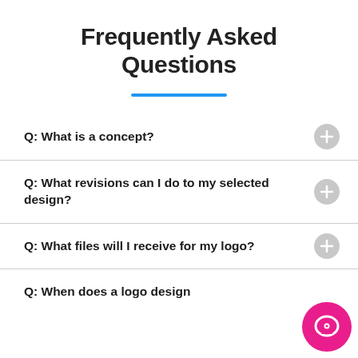Frequently Asked Questions
Q: What is a concept?
Q: What revisions can I do to my selected design?
Q: What files will I receive for my logo?
Q: When does a logo design